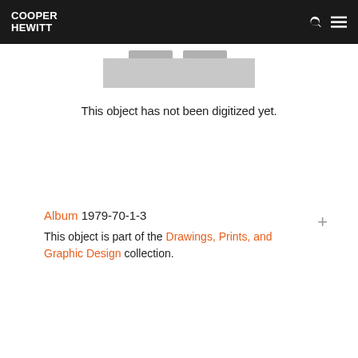COOPER HEWITT
[Figure (illustration): Placeholder image representing an undigitized museum object — a light grey rectangle with two darker grey tabs at top corners]
This object has not been digitized yet.
Album 1979-70-1-3
This object is part of the Drawings, Prints, and Graphic Design collection.